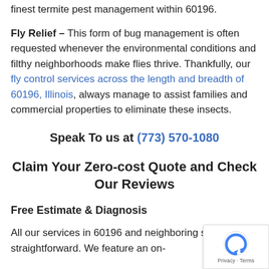finest termite pest management within 60196.
Fly Relief – This form of bug management is often requested whenever the environmental conditions and filthy neighborhoods make flies thrive. Thankfully, our fly control services across the length and breadth of 60196, Illinois, always manage to assist families and commercial properties to eliminate these insects.
Speak To us at (773) 570-1080
Claim Your Zero-cost Quote and Check Our Reviews
Free Estimate & Diagnosis
All our services in 60196 and neighboring suburbs are straightforward. We feature an on-